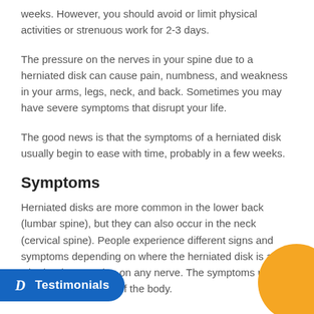weeks. However, you should avoid or limit physical activities or strenuous work for 2-3 days.
The pressure on the nerves in your spine due to a herniated disk can cause pain, numbness, and weakness in your arms, legs, neck, and back. Sometimes you may have severe symptoms that disrupt your life.
The good news is that the symptoms of a herniated disk usually begin to ease with time, probably in a few weeks.
Symptoms
Herniated disks are more common in the lower back (lumbar spine), but they can also occur in the neck (cervical spine). People experience different signs and symptoms depending on where the herniated disk is and whether it's pressing on any nerve. The symptoms usually develop on one side of the body.